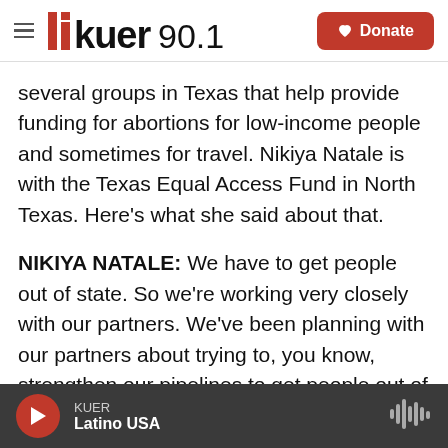KUER 90.1 — Donate
several groups in Texas that help provide funding for abortions for low-income people and sometimes for travel. Nikiya Natale is with the Texas Equal Access Fund in North Texas. Here's what she said about that.
NIKIYA NATALE: We have to get people out of state. So we're working very closely with our partners. We've been planning with our partners about trying to, you know, strengthen our pipelines to get people out of Texas into neighboring states to get the abortion care that they need.
KUER Latino USA